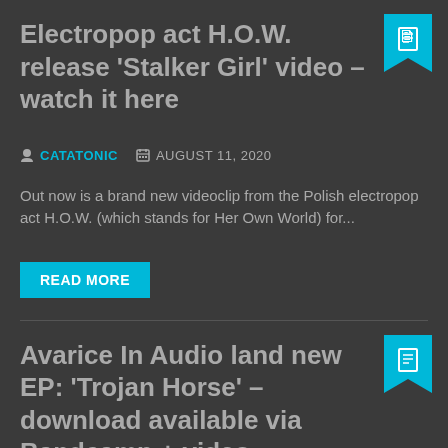Electropop act H.O.W. release 'Stalker Girl' video – watch it here
CATATONIC   AUGUST 11, 2020
Out now is a brand new videoclip from the Polish electropop act H.O.W. (which stands for Her Own World) for...
READ MORE
Avarice In Audio land new EP: 'Trojan Horse' – download available via Bandcamp + video
author icon  date icon